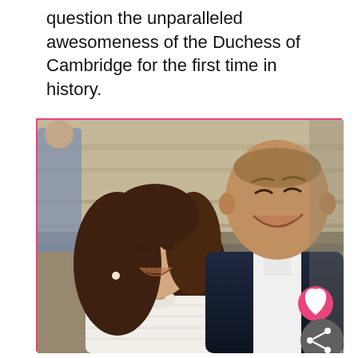question the unparalleled awesomeness of the Duchess of Cambridge for the first time in history.
[Figure (photo): Photo of Kate Middleton (Duchess of Cambridge) and Prince William laughing together outdoors in front of a building. Kate wears a white knit top and William wears a dark navy suit with a white shirt. A pink heart button and grey share button are overlaid on the bottom right of the image frame.]